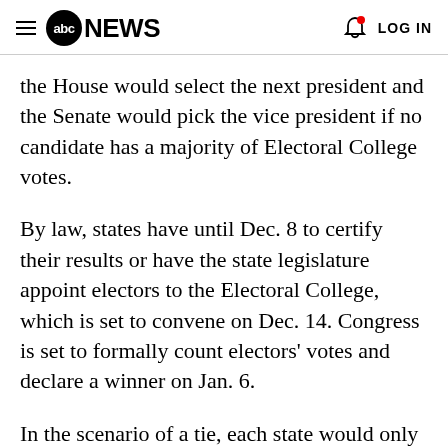abc NEWS  LOG IN
the House would select the next president and the Senate would pick the vice president if no candidate has a majority of Electoral College votes.
By law, states have until Dec. 8 to certify their results or have the state legislature appoint electors to the Electoral College, which is set to convene on Dec. 14. Congress is set to formally count electors' votes and declare a winner on Jan. 6.
In the scenario of a tie, each state would only have a single vote in the House of